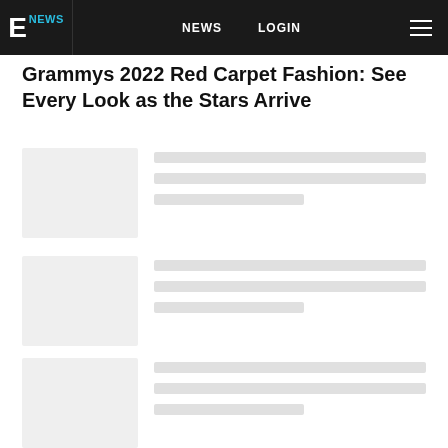E! NEWS | NEWS | LOGIN
Grammys 2022 Red Carpet Fashion: See Every Look as the Stars Arrive
[Figure (photo): Placeholder image card 1 with loading skeleton lines]
[Figure (photo): Placeholder image card 2 with loading skeleton lines]
[Figure (photo): Placeholder image card 3 with loading skeleton lines]